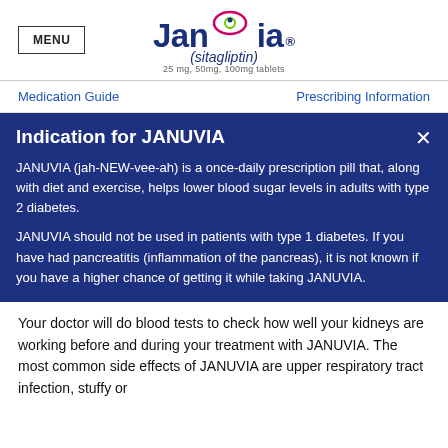MENU | Januvia (sitagliptin) 25mg, 50mg, 100mg tablets
Medication Guide
Prescribing Information
Indication for JANUVIA
JANUVIA (jah-NEW-vee-ah) is a once-daily prescription pill that, along with diet and exercise, helps lower blood sugar levels in adults with type 2 diabetes.
JANUVIA should not be used in patients with type 1 diabetes. If you have had pancreatitis (inflammation of the pancreas), it is not known if you have a higher chance of getting it while taking JANUVIA.
Your doctor will do blood tests to check how well your kidneys are working before and during your treatment with JANUVIA. The most common side effects of JANUVIA are upper respiratory tract infection, stuffy or